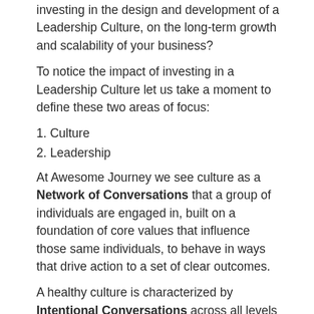investing in the design and development of a Leadership Culture, on the long-term growth and scalability of your business?
To notice the impact of investing in a Leadership Culture let us take a moment to define these two areas of focus:
1. Culture
2. Leadership
At Awesome Journey we see culture as a Network of Conversations that a group of individuals are engaged in, built on a foundation of core values that influence those same individuals, to behave in ways that drive action to a set of clear outcomes.
A healthy culture is characterized by Intentional Conversations across all levels of an organization that builds trust. The foundation of the culture is